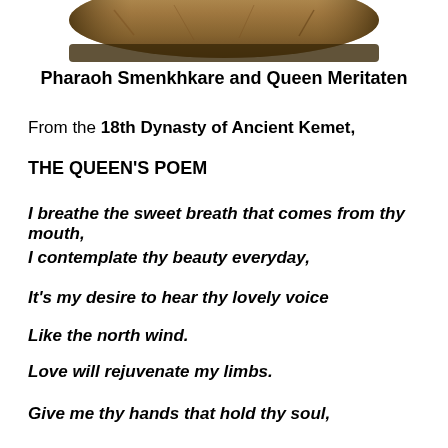[Figure (photo): Partial view of an ancient Egyptian artifact — a stone or carved object, showing sandy brown and dark tones, cropped at the top of the page.]
Pharaoh Smenkhkare and Queen Meritaten
From the 18th Dynasty of Ancient Kemet,
THE QUEEN'S POEM
I breathe the sweet breath that comes from thy mouth,
I contemplate thy beauty everyday,
It's my desire to hear thy lovely voice
Like the north wind.
Love will rejuvenate my limbs.
Give me thy hands that hold thy soul,